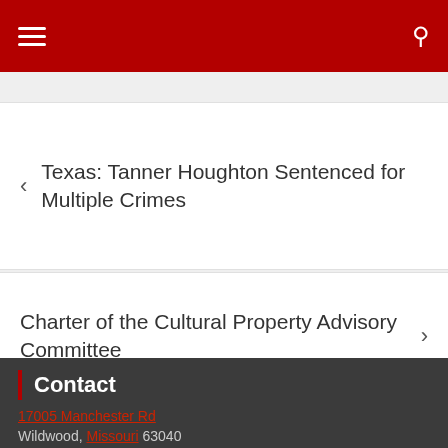Texas: Tanner Houghton Sentenced for Multiple Crimes
Charter of the Cultural Property Advisory Committee
Contact
17005 Manchester Rd
Wildwood, Missouri 63040